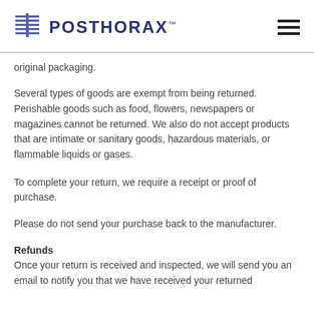POSTHORAX™
original packaging.
Several types of goods are exempt from being returned. Perishable goods such as food, flowers, newspapers or magazines cannot be returned. We also do not accept products that are intimate or sanitary goods, hazardous materials, or flammable liquids or gases.
To complete your return, we require a receipt or proof of purchase.
Please do not send your purchase back to the manufacturer.
Refunds
Once your return is received and inspected, we will send you an email to notify you that we have received your returned